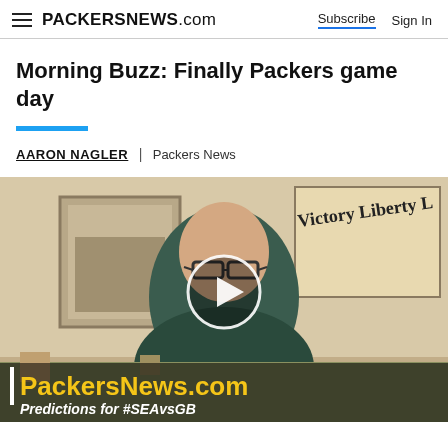PACKERSNEWS.com | Subscribe | Sign In
Morning Buzz: Finally Packers game day
AARON NAGLER | Packers News
[Figure (photo): Video thumbnail showing a man with glasses sitting in front of framed pictures on a wall including a 'Victory Liberty' poster. A play button circle is overlaid in the center. Bottom text reads 'PackersNews.com' and 'Predictions for #SEAvsGB']